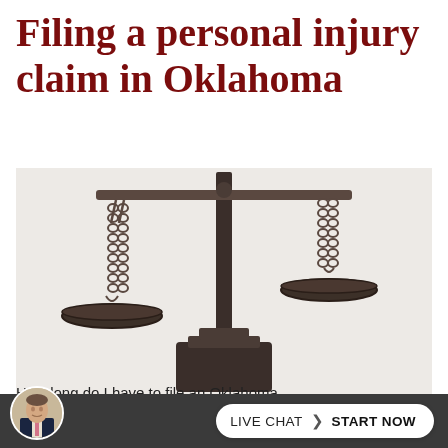Filing a personal injury claim in Oklahoma
[Figure (photo): Photo of bronze/dark metal balance scales (scales of justice) with two pans hanging from chains, set against a light/white background]
How long do I have to file an Oklahoma personal injury claim?
[Figure (photo): Avatar photo of a man in a suit, circular crop]
LIVE CHAT  START NOW